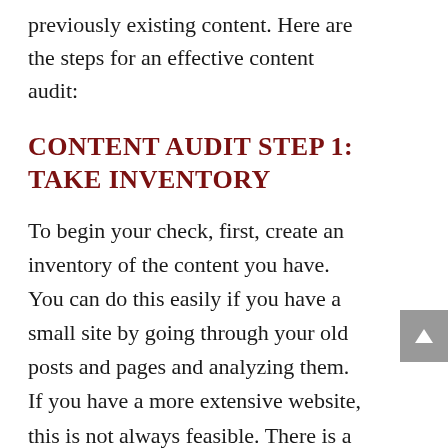previously existing content. Here are the steps for an effective content audit:
CONTENT AUDIT STEP 1: TAKE INVENTORY
To begin your check, first, create an inventory of the content you have. You can do this easily if you have a small site by going through your old posts and pages and analyzing them. If you have a more extensive website, this is not always feasible. There is a solution! If you have many areas to cover, you can use a crawler like